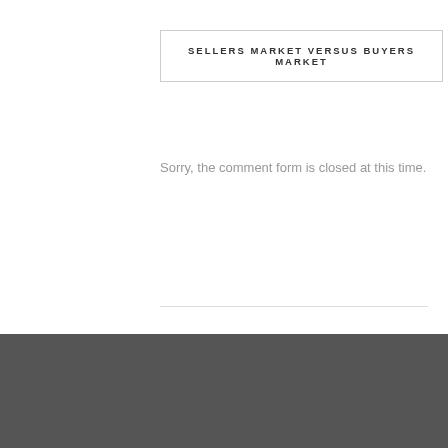SELLERS MARKET VERSUS BUYERS MARKET
Sorry, the comment form is closed at this time.
Copyright © 2021 Fairmont Custom Homes | Web Design by Suburbanbuzz.com | Powered by WP Engine | Social Media by Th...